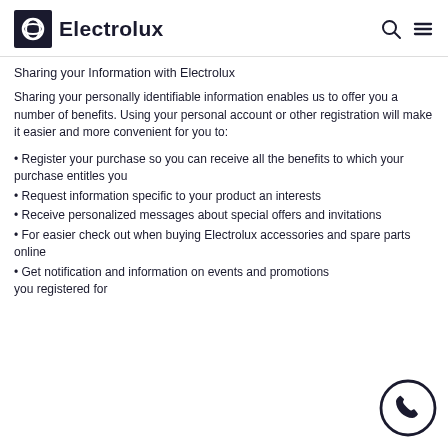Electrolux
Sharing your Information with Electrolux
Sharing your personally identifiable information enables us to offer you a number of benefits. Using your personal account or other registration will make it easier and more convenient for you to:
Register your purchase so you can receive all the benefits to which your purchase entitles you
Request information specific to your product an interests
Receive personalized messages about special offers and invitations
For easier check out when buying Electrolux accessories and spare parts online
Get notification and information on events and promotions you registered for
[Figure (illustration): Phone/call button icon — circular outline with a phone handset symbol inside, dark navy color]